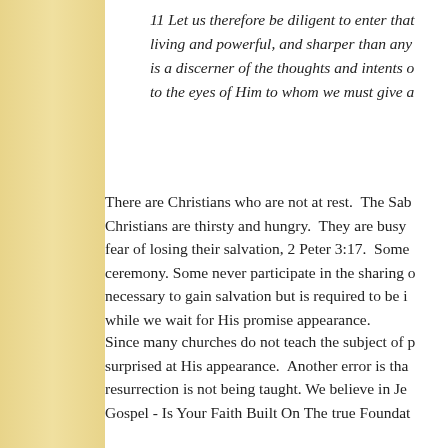11 Let us therefore be diligent to enter that living and powerful, and sharper than any is a discerner of the thoughts and intents o to the eyes of Him to whom we must give a
There are Christians who are not at rest.  The Sab Christians are thirsty and hungry.  They are busy fear of losing their salvation, 2 Peter 3:17.  Some ceremony. Some never participate in the sharing o necessary to gain salvation but is required to be i while we wait for His promise appearance.
Since many churches do not teach the subject of p surprised at His appearance.  Another error is tha resurrection is not being taught. We believe in Je Gospel - Is Your Faith Built On The true Foundat